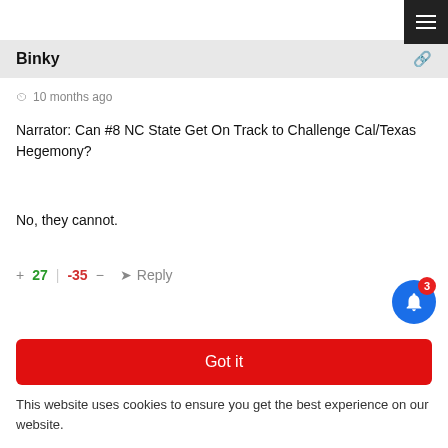Binky
10 months ago
Narrator: Can #8 NC State Get On Track to Challenge Cal/Texas Hegemony?
No, they cannot.
+ 27 | -35 — Reply
Yup
Reply to Binky  10 months ago
Got it
This website uses cookies to ensure you get the best experience on our website.